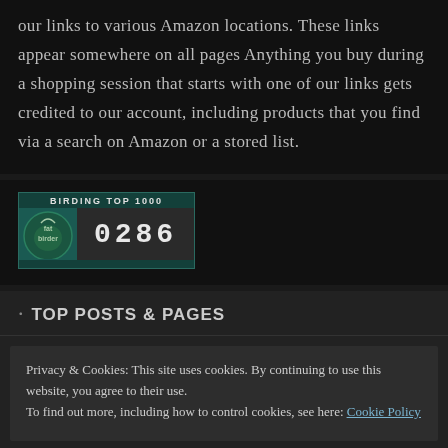our links to various Amazon locations. These links appear somewhere on all pages Anything you buy during a shopping session that starts with one of our links gets credited to our account, including products that you find via a search on Amazon or a stored list.
[Figure (logo): Birding Top 1000 badge showing rank 0286, with a bird logo on the left and a dark number display on the right]
TOP POSTS & PAGES
Privacy & Cookies: This site uses cookies. By continuing to use this website, you agree to their use.
To find out more, including how to control cookies, see here: Cookie Policy
Close and accept
Upland Game Birds